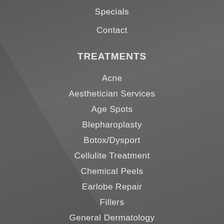Specials
Contact
TREATMENTS
Acne
Aesthetician Services
Age Spots
Blepharoplasty
Botox/Dysport
Cellulite Treatment
Chemical Peels
Earlobe Repair
Fillers
General Dermatology
Laser Hair Removal
Melasma or Pregnancy Mask
Mole/Growth Removal
Otoplasty